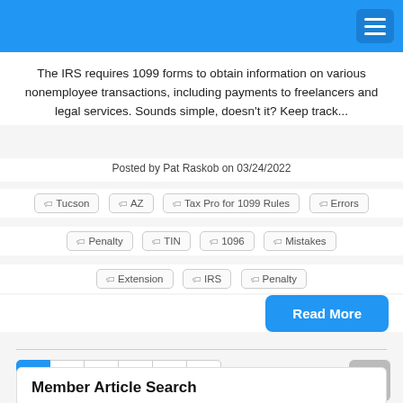The IRS requires 1099 forms to obtain information on various nonemployee transactions, including payments to freelancers and legal services. Sounds simple, doesn't it? Keep track...
Posted by Pat Raskob on 03/24/2022
Tucson
AZ
Tax Pro for 1099 Rules
Errors
Penalty
TIN
1096
Mistakes
Extension
IRS
Penalty
Read More
1 2 3 4 5 »
Member Article Search